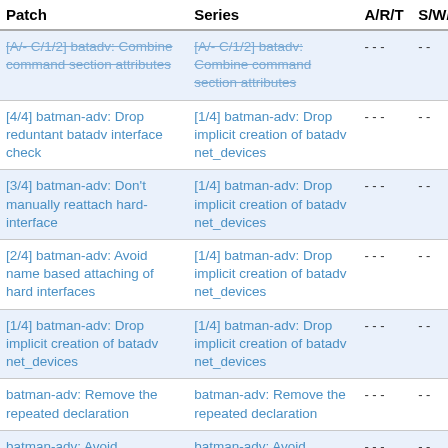| Patch | Series | A/R/T | S/W/A |
| --- | --- | --- | --- |
| [A/- C/1/2] batadv: Combine command section attributes | [A/- C/1/2] batadv: Combine command section attributes | - - - | - - |
| [4/4] batman-adv: Drop reduntant batadv interface check | [1/4] batman-adv: Drop implicit creation of batadv net_devices | - - - | - - |
| [3/4] batman-adv: Don't manually reattach hard-interface | [1/4] batman-adv: Drop implicit creation of batadv net_devices | - - - | - - |
| [2/4] batman-adv: Avoid name based attaching of hard interfaces | [1/4] batman-adv: Drop implicit creation of batadv net_devices | - - - | - - |
| [1/4] batman-adv: Drop implicit creation of batadv net_devices | [1/4] batman-adv: Drop implicit creation of batadv net_devices | - - - | - - |
| batman-adv: Remove the repeated declaration | batman-adv: Remove the repeated declaration | - - - | - - |
| batman-adv: Avoid WARN_ON timing related checks | batman-adv: Avoid WARN_ON timing related checks | - - - | - - |